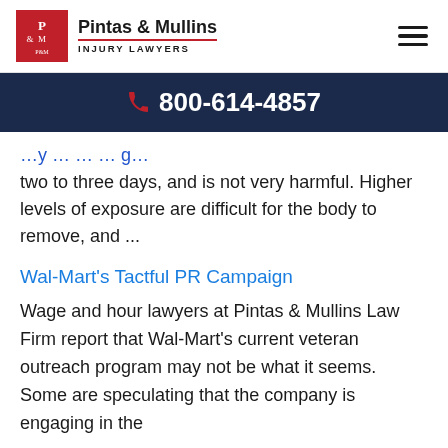Pintas & Mullins Injury Lawyers | 800-614-4857
two to three days, and is not very harmful. Higher levels of exposure are difficult for the body to remove, and ...
Wal-Mart's Tactful PR Campaign
Wage and hour lawyers at Pintas & Mullins Law Firm report that Wal-Mart's current veteran outreach program may not be what it seems. Some are speculating that the company is engaging in the